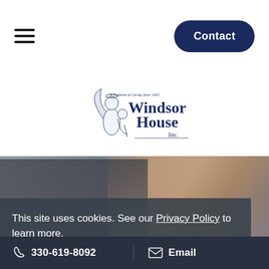Windsor House Inc. — Navigation bar with hamburger menu and Contact button
[Figure (logo): Windsor House Inc. logo — illustration of angel/caregiver with elderly person, text 'A Tradition of Caring Since 1935', 'Windsor House Inc.' in dark blue serif font]
[Figure (photo): Hero photo showing hands clasped together — caregiver holding the hand of an elderly person]
This site uses cookies. See our Privacy Policy to learn more.
Okay, Got it
330-619-8092   Email